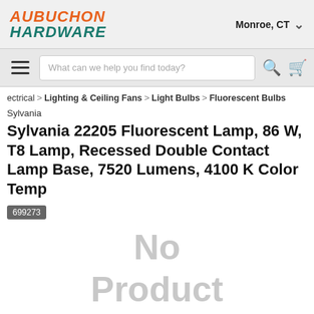AUBUCHON HARDWARE — Monroe, CT
What can we help you find today?
ectrical > Lighting & Ceiling Fans > Light Bulbs > Fluorescent Bulbs
Sylvania
Sylvania 22205 Fluorescent Lamp, 86 W, T8 Lamp, Recessed Double Contact Lamp Base, 7520 Lumens, 4100 K Color Temp
699273
[Figure (illustration): No Product Image placeholder text in light gray]